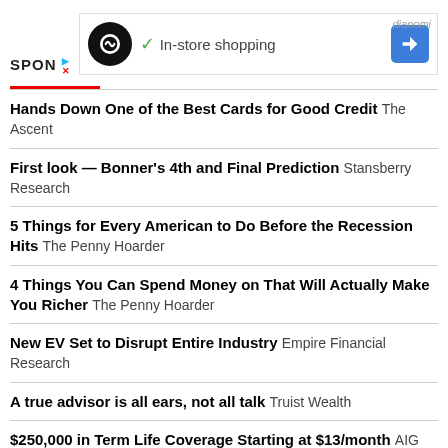[Figure (screenshot): Ad banner with loop/infinity icon, 'In-store shopping' text with checkmark, blue navigation arrow icon, and 'dianomi' branding. 'SPON' label on left.]
Hands Down One of the Best Cards for Good Credit The Ascent
First look — Bonner's 4th and Final Prediction Stansberry Research
5 Things for Every American to Do Before the Recession Hits The Penny Hoarder
4 Things You Can Spend Money on That Will Actually Make You Richer The Penny Hoarder
New EV Set to Disrupt Entire Industry Empire Financial Research
A true advisor is all ears, not all talk Truist Wealth
$250,000 in Term Life Coverage Starting at $13/month AIG Direct
FACEBOOK
TWITTER